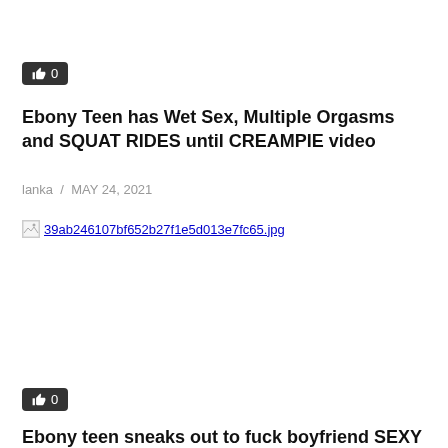[Figure (other): Like/thumbs-up button with count 0]
Ebony Teen has Wet Sex, Multiple Orgasms and SQUAT RIDES until CREAMPIE video
lanka / MAY 24, 2021
[Figure (photo): Broken image placeholder: 39ab246107bf652b27f1e5d013e7fc65.jpg]
[Figure (other): Like/thumbs-up button with count 0]
Ebony teen sneaks out to fuck boyfriend SEXY (Full Clip)